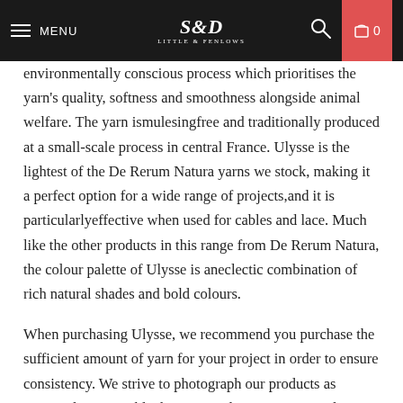MENU | S&D | 0
environmentally conscious process which prioritises the yarn's quality, softness and smoothness alongside animal welfare. The yarn ismulesingfree and traditionally produced at a small-scale process in central France. Ulysse is the lightest of the De Rerum Natura yarns we stock, making it a perfect option for a wide range of projects,and it is particularlyeffective when used for cables and lace. Much like the other products in this range from De Rerum Natura, the colour palette of Ulysse is aneclectic combination of rich natural shades and bold colours.
When purchasing Ulysse, we recommend you purchase the sufficient amount of yarn for your project in order to ensure consistency. We strive to photograph our products as accurately as possible, however colours may vary. Please note that this listing is for oneballof yarn and that images of multiple skeins are included for accurate